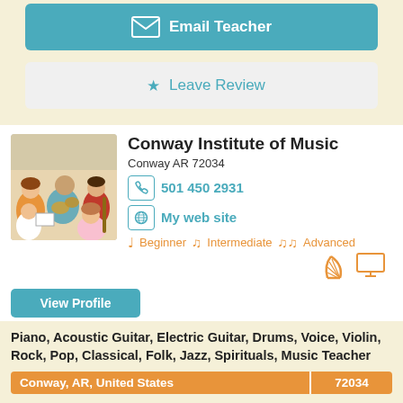[Figure (infographic): Email Teacher button with envelope icon on teal background]
[Figure (infographic): Leave Review button with star icon on light gray background]
Conway Institute of Music
Conway AR 72034
501 450 2931
My web site
Beginner  Intermediate  Advanced
[Figure (photo): Group photo of children playing musical instruments]
View Profile
Piano, Acoustic Guitar, Electric Guitar, Drums, Voice, Violin, Rock, Pop, Classical, Folk, Jazz, Spirituals, Music Teacher
Conway, AR, United States   72034
Voted 2017 National Music School of the Year! The Conway Institute of Music is the largest music school in the city of Conway, Arkansas with an active enrollment of over 400 students.
[Figure (infographic): Email Teacher button with envelope icon on teal background]